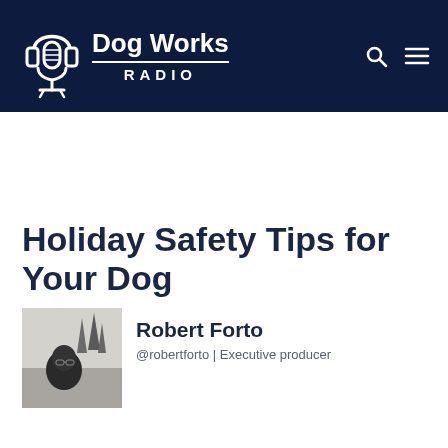Dog Works Radio
Holiday Safety Tips for Your Dog
[Figure (photo): Black and white photo of Robert Forto, a man wearing glasses outdoors]
Robert Forto
@robertforto | Executive producer